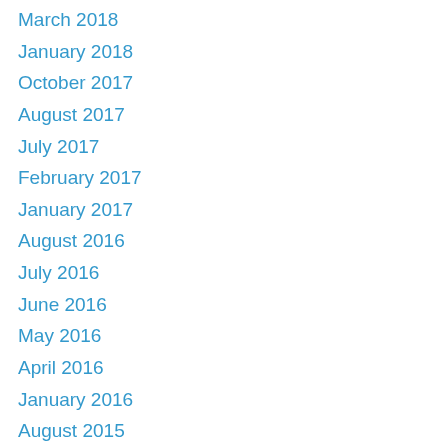March 2018
January 2018
October 2017
August 2017
July 2017
February 2017
January 2017
August 2016
July 2016
June 2016
May 2016
April 2016
January 2016
August 2015
June 2015
April 2015
January 2015
December 2014
September 2014